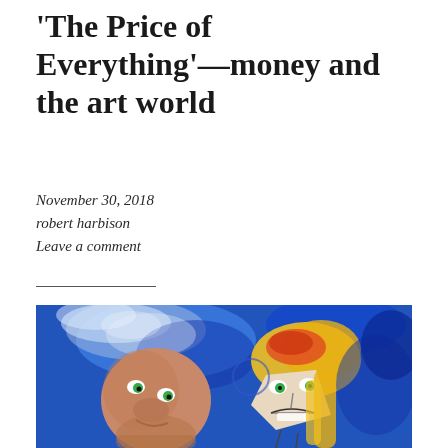'The Price of Everything'—money and the art world
November 30, 2018
robert harbison
Leave a comment
[Figure (photo): Painting with blue background showing two cartoon-like figures with green eyes — a rounded brownish face on the left and a more angular face with yellow hair on the right, in an expressionist style.]